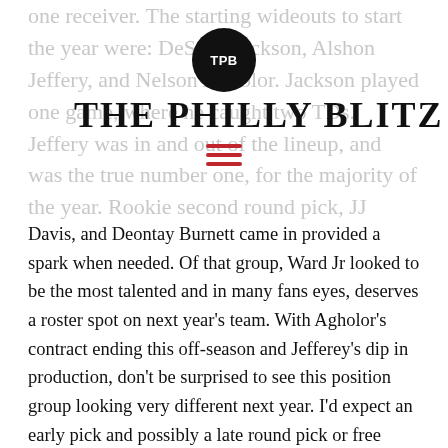one receiver. The starting wideouts to start the year were: DeSean Jackson, Alshon Jeffery, and Nelson Agholor. Jackson played one game, where he caught two TDs. Jeffery was in and out of the lineup, and was the true number one, for the majority of the year. Rookie second round pick, JJ Arcega-Whiteside was basically invisible most of the year. After injuries ravaged the group, late in the season practice squad guys: Greg Ward Jr, Rob
THE PHILLY BLITZ
Davis, and Deontay Burnett came in provided a spark when needed. Of that group, Ward Jr looked to be the most talented and in many fans eyes, deserves a roster spot on next year's team. With Agholor's contract ending this off-season and Jefferey's dip in production, don't be surprised to see this position group looking very different next year. I'd expect an early pick and possibly a late round pick or free agent addition.
Tight End
The tight end position group looked to all the most consistent and